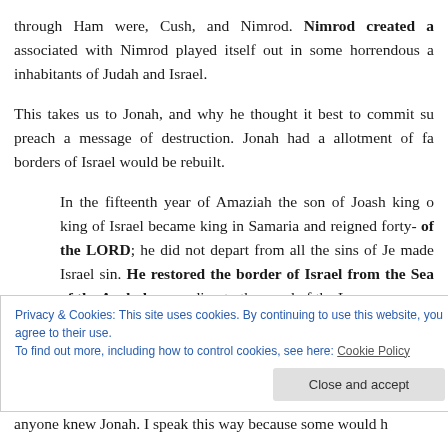through Ham were, Cush, and Nimrod. Nimrod created a associated with Nimrod played itself out in some horrendous a inhabitants of Judah and Israel.
This takes us to Jonah, and why he thought it best to commit su preach a message of destruction. Jonah had a allotment of fa borders of Israel would be rebuilt.
In the fifteenth year of Amaziah the son of Joash king o king of Israel became king in Samaria and reigned forty of the LORD; he did not depart from all the sins of Je made Israel sin. He restored the border of Israel from the Sea of the Arabah, according to the word of the L
Privacy & Cookies: This site uses cookies. By continuing to use this website, you agree to their use.
To find out more, including how to control cookies, see here: Cookie Policy
anyone knew Jonah. I speak this way because some would h